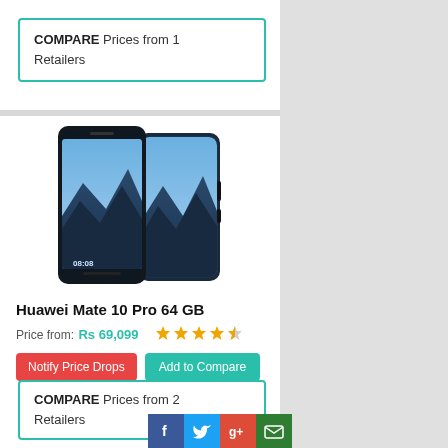COMPARE Prices from 1 Retailers
[Figure (photo): Huawei Mate 10 Pro smartphone shown from front and back angles in dark blue color]
Huawei Mate 10 Pro 64 GB
Price from: Rs 69,099  ★★★★½
Notify Price Drops  Add to Compare
COMPARE Prices from 2 Retailers
[Figure (infographic): Social sharing buttons: Facebook, Twitter, Google+, Email]